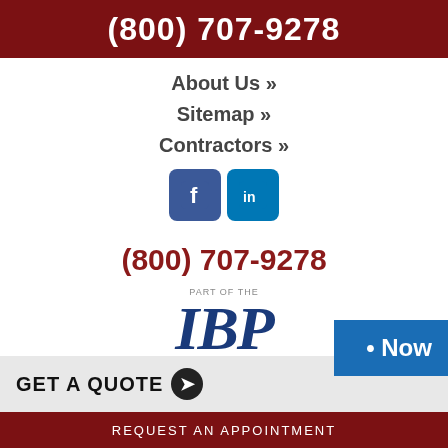(800) 707-9278
About Us »
Sitemap »
Contractors »
[Figure (logo): Facebook and LinkedIn social media icons]
(800) 707-9278
[Figure (logo): IBP - Installed Building Products Family of Companies logo]
GET A QUOTE
REQUEST AN APPOINTMENT